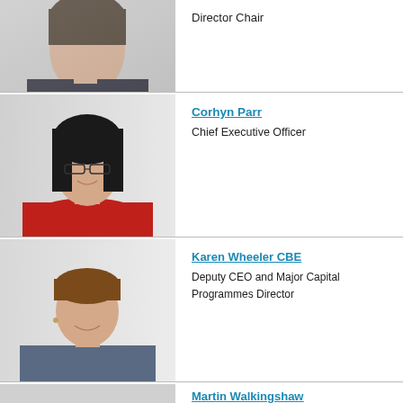[Figure (photo): Headshot of a woman with dark hair, wearing a dark top, partial view at top of page]
Director Chair
[Figure (photo): Headshot of Corhyn Parr, woman with dark hair and glasses, wearing red jacket]
Corhyn Parr
Chief Executive Officer
[Figure (photo): Headshot of Karen Wheeler CBE, woman with short brown hair, wearing blue/grey jacket]
Karen Wheeler CBE
Deputy CEO and Major Capital Programmes Director
[Figure (photo): Partial headshot of Martin Walkingshaw at bottom of page]
Martin Walkingshaw